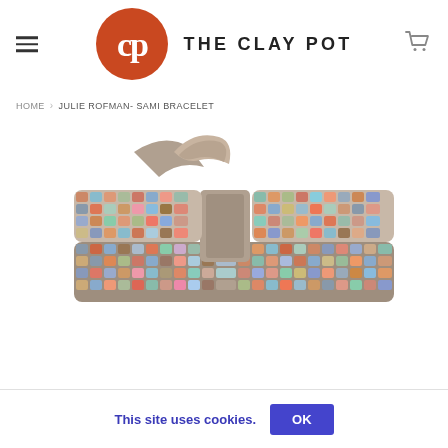[Figure (logo): The Clay Pot logo with circular red/orange CP icon and text 'THE CLAY POT']
HOME > JULIE ROFMAN- SAMI BRACELET
[Figure (photo): Colorful beaded Sami bracelet with taupe leather strap, multi-color pixel/checker bead pattern in reds, blues, greens, pinks, grays and earth tones]
This site uses cookies. OK